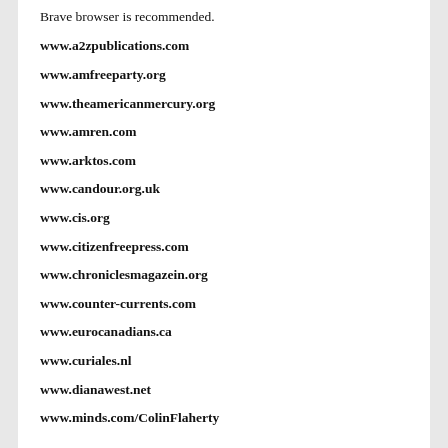Brave browser is recommended.
www.a2zpublications.com
www.amfreeparty.org
www.theamericanmercury.org
www.amren.com
www.arktos.com
www.candour.org.uk
www.cis.org
www.citizenfreepress.com
www.chroniclesmagazein.org
www.counter-currents.com
www.eurocanadians.ca
www.curiales.nl
www.dianawest.net
www.minds.com/ColinFlaherty